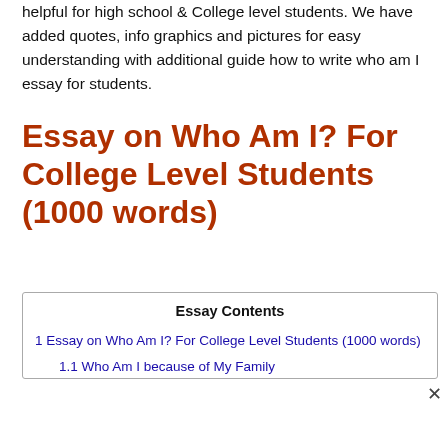helpful for high school & College level students. We have added quotes, info graphics and pictures for easy understanding with additional guide how to write who am I essay for students.
Essay on Who Am I? For College Level Students (1000 words)
Essay Contents
1 Essay on Who Am I? For College Level Students (1000 words)
1.1 Who Am I because of My Family